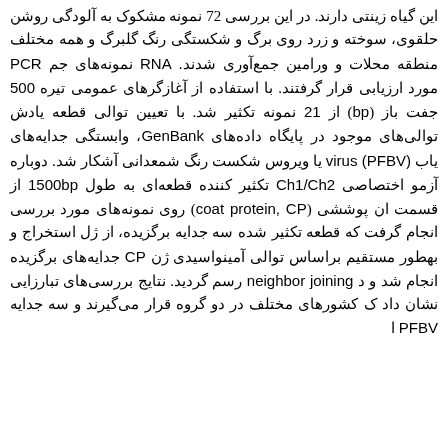این گیاه زینتی دارند. در این بررسی 72 نمونه مشکوک به آلودگی روشن حلقوی، سوخته و زرد روی برگ و شکستگی رنگ گلبرگ و همه مختلف منطقه محلات و ورامین جمع‌آوری شدند. RNA نمونه‌های جم PCR مورد ارزیابی قرار گرفتند. با استفاده از آغازگرهای عمومی تیره‌ 500 جفت باز (bp) از 21 نمونه تکثیر شد. با تعیین توالی قطعه یادش توالی‌های موجود در پایگاه داده‌های GenBank، وابستگی جدایه‌های یاب virus (PFBV) یا ویروس شکست رنگ شمعدانی آشکار شد. دوباره آزمو اختصاصی Ch1/Ch2 تکثیر کننده قطعه‌ای به طول 1500bp از قسمت ان پوششی (coat protein, CP) روی نمونه‌های مورد بررسی انجام گرفت که قطعه تکثیر شده سه جدایه برگزیده، از ژل استخراج و بهطور مستقیم براساس توالی آمینواسیدی ژن CP جدایه‌های برگزیده انجام شد و د neighbor joining رسم گردید. نتایج بررسی‌های تبارزایی نشان داد ک کشورهای مختلف در دو گروه قرار می‌گیرند و سه جدایه PFBV ا